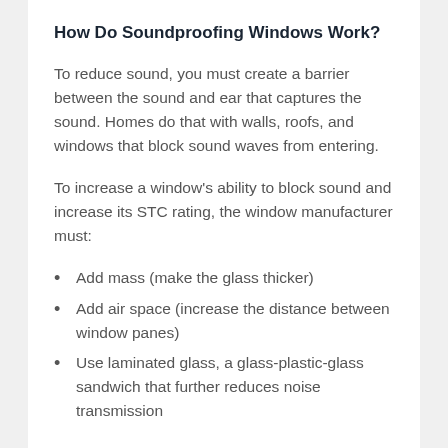How Do Soundproofing Windows Work?
To reduce sound, you must create a barrier between the sound and ear that captures the sound. Homes do that with walls, roofs, and windows that block sound waves from entering.
To increase a window's ability to block sound and increase its STC rating, the window manufacturer must:
Add mass (make the glass thicker)
Add air space (increase the distance between window panes)
Use laminated glass, a glass-plastic-glass sandwich that further reduces noise transmission